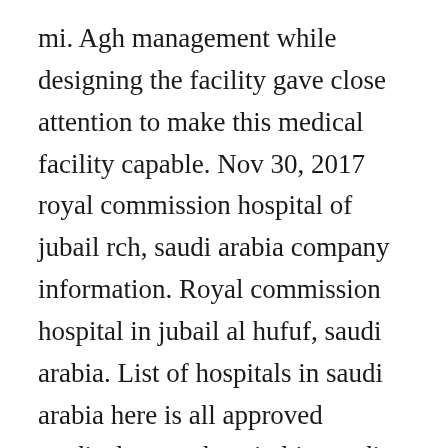mi. Agh management while designing the facility gave close attention to make this medical facility capable. Nov 30, 2017 royal commission hospital of jubail rch, saudi arabia company information. Royal commission hospital in jubail al hufuf, saudi arabia. List of hospitals in saudi arabia here is all approved medical center hospital in saudi arabia list. There are 4 ways to get from dammam to jubail by bus, taxi, car or towncar. Ready for collection i chose the clinic from the website and rang them on the 17. With 39,494 square meters, were not only building